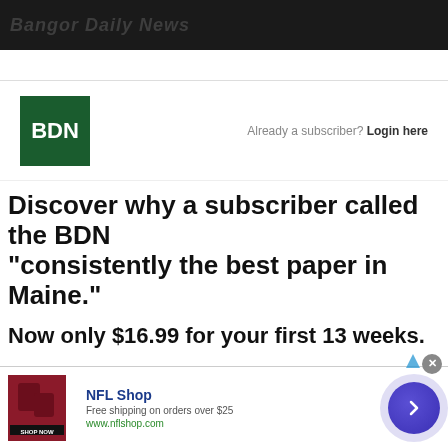Bangor Daily News
[Figure (logo): BDN logo - dark green square with white bold text BDN]
Already a subscriber? Login here
Discover why a subscriber called the BDN "consistently the best paper in Maine."
Now only $16.99 for your first 13 weeks.
[Figure (infographic): NFL Shop advertisement banner with red product image, shop now button, NFL Shop title, free shipping offer, and arrow navigation button]